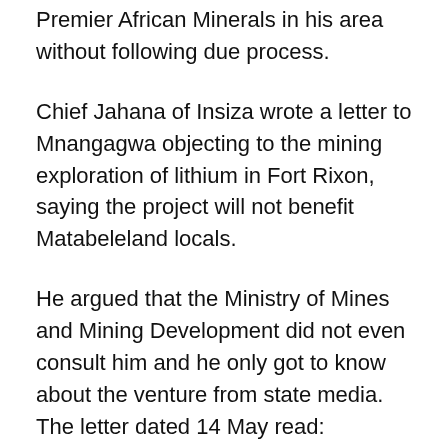Premier African Minerals in his area without following due process.
Chief Jahana of Insiza wrote a letter to Mnangagwa objecting to the mining exploration of lithium in Fort Rixon, saying the project will not benefit Matabeleland locals.
He argued that the Ministry of Mines and Mining Development did not even consult him and he only got to know about the venture from state media. The letter dated 14 May read:
“In your November 24, 2017 acceptance speech as President of the Second Republic, you condemned the mortgaging of Zimbabweans future through the dubious issuance of mining EPOs, national strategic business permits licenses to foreigners, 99-year farm